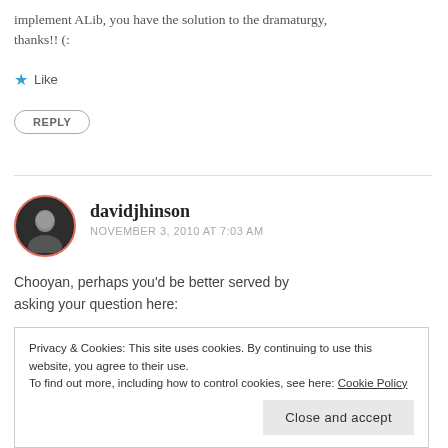implement ALib, you have the solution to the dramaturgy, thanks!! (:
Like
REPLY
davidjhinson
NOVEMBER 3, 2010 AT 7:03 AM
Chooyan, perhaps you'd be better served by asking your question here:
Privacy & Cookies: This site uses cookies. By continuing to use this website, you agree to their use.
To find out more, including how to control cookies, see here: Cookie Policy
Close and accept